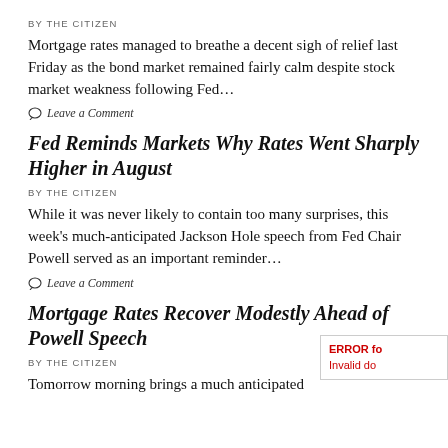BY THE CITIZEN
Mortgage rates managed to breathe a decent sigh of relief last Friday as the bond market remained fairly calm despite stock market weakness following Fed…
Leave a Comment
Fed Reminds Markets Why Rates Went Sharply Higher in August
BY THE CITIZEN
While it was never likely to contain too many surprises, this week's much-anticipated Jackson Hole speech from Fed Chair Powell served as an important reminder…
Leave a Comment
Mortgage Rates Recover Modestly Ahead of Powell Speech
BY THE CITIZEN
Tomorrow morning brings a much anticipated